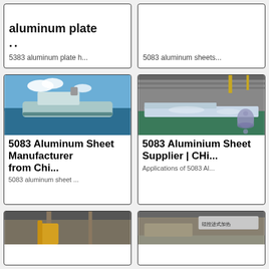[Figure (screenshot): Top-left card showing partial title 'aluminum plate' with double quote icons and description text '5383 aluminum plate h...']
[Figure (screenshot): Top-right card showing description text '5083 aluminum sheets...' with no image visible]
[Figure (photo): Photo of a cargo/LNG ship at sea with blue sky]
5083 Aluminum Sheet Manufacturer from Chi...
5083 aluminum sheet ...
[Figure (photo): Photo of aluminum sheets in an industrial warehouse with green floor]
5083 Aluminium Sheet Supplier | Chi...
Applications of 5083 Al...
[Figure (photo): Bottom-left card partial photo of industrial interior]
[Figure (photo): Bottom-right card partial photo of industrial facility with Chinese text sign]